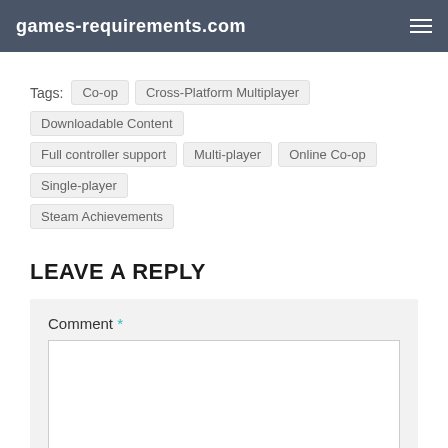games-requirements.com
Tags: Co-op  Cross-Platform Multiplayer  Downloadable Content  Full controller support  Multi-player  Online Co-op  Single-player  Steam Achievements
LEAVE A REPLY
Comment * [textarea] Name * Email * [inputs]